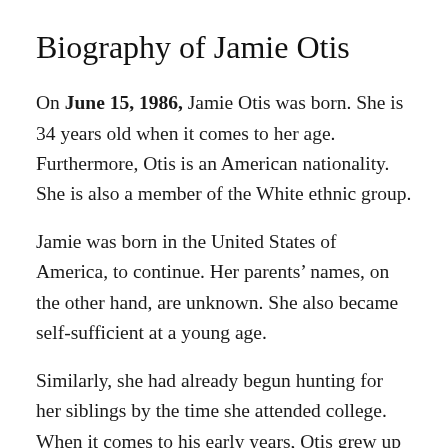Biography of Jamie Otis
On June 15, 1986, Jamie Otis was born. She is 34 years old when it comes to her age. Furthermore, Otis is an American nationality. She is also a member of the White ethnic group.
Jamie was born in the United States of America, to continue. Her parents' names, on the other hand, are unknown. She also became self-sufficient at a young age.
Similarly, she had already begun hunting for her siblings by the time she attended college. When it comes to his early years, Otis grew up with two younger sisters. Amylynn Otis and Leah King